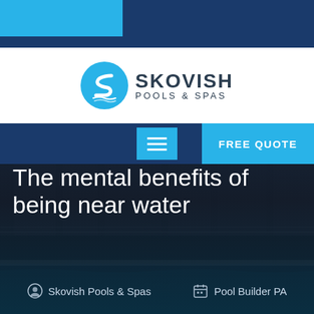[Figure (logo): Skovish Pools & Spas logo with stylized S icon in blue and company name]
[Figure (screenshot): Website navigation bar with hamburger menu button and FREE QUOTE button]
The mental benefits of being near water
Skovish Pools & Spas   Pool Builder PA